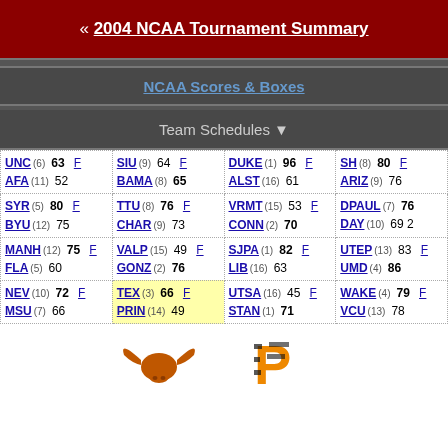« 2004 NCAA Tournament Summary
NCAA Scores & Boxes
Team Schedules ▼
| UNC (6) 63 F / AFA (11) 52 | SIU (9) 64 F / BAMA (8) 65 | DUKE (1) 96 F / ALST (16) 61 | SH (8) 80 F / ARIZ (9) 76 |
| SYR (5) 80 F / BYU (12) 75 | TTU (8) 76 F / CHAR (9) 73 | VRMT (15) 53 F / CONN (2) 70 | DPAUL (7) 76 / DAY (10) 69 2 |
| MANH (12) 75 F / FLA (5) 60 | VALP (15) 49 F / GONZ (2) 76 | SJPA (1) 82 F / LIB (16) 63 | UTEP (13) 83 F / UMD (4) 86 |
| NEV (10) 72 F / MSU (7) 66 | TEX (3) 66 F / PRIN (14) 49 | UTSA (16) 45 F / STAN (1) 71 | WAKE (4) 79 F / VCU (13) 78 |
[Figure (logo): Texas Longhorns logo (orange longhorn)]
[Figure (logo): Princeton Tigers logo (black and orange P)]